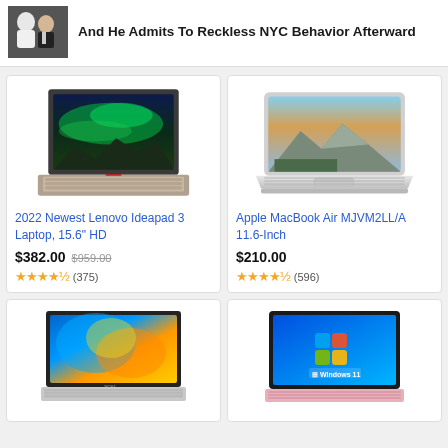[Figure (photo): Two people in a news-style thumbnail image]
And He Admits To Reckless NYC Behavior Afterward
[Figure (photo): Lenovo Ideapad 3 laptop product image showing aurora borealis wallpaper]
2022 Newest Lenovo Ideapad 3 Laptop, 15.6" HD
$382.00 $959.00
★★★★½ (375)
[Figure (photo): Apple MacBook Air product image showing mountain landscape wallpaper]
Apple MacBook Air MJVM2LL/A 11.6-Inch
$210.00
★★★★½ (596)
[Figure (photo): Acer laptop product image showing colorful abstract wallpaper]
[Figure (photo): HP laptop in pink showing Windows 11 wallpaper]